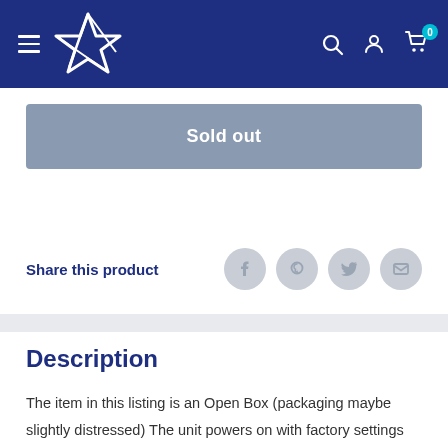Navigation header with logo and icons
Sold out
Share this product
Description
The item in this listing is an Open Box (packaging maybe slightly distressed) The unit powers on with factory settings restored and includes the original accessories. Product comes with 90 days warranty LENOVO 14" FHD TOUCH AMD RYZEN 5 3500U 8GB 256GB SSD FPR 81SS0005US